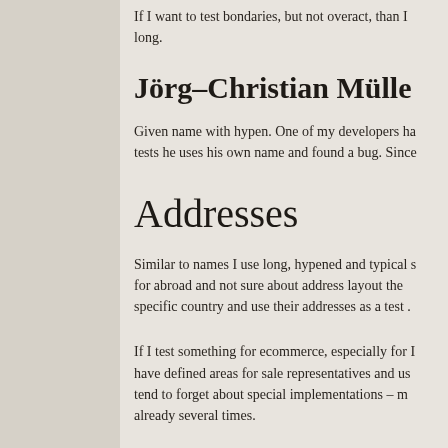If I want to test bondaries, but not overact, than I long.
Jörg–Christian Müller
Given name with hypen. One of my developers ha tests he uses his own name and found a bug. Since
Addresses
Similar to names I use long, hypened and typical s for abroad and not sure about address layout the specific country and use their addresses as a test .
If I test something for ecommerce, especially for have defined areas for sale representatives and us tend to forget about special implementations – m already several times.